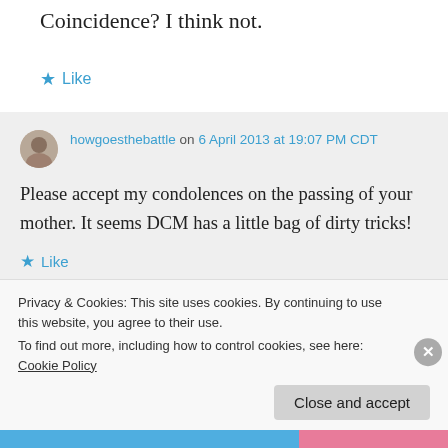Coincidence? I think not.
★ Like
howgoesthebattle on 6 April 2013 at 19:07 PM CDT
Please accept my condolences on the passing of your mother. It seems DCM has a little bag of dirty tricks!
★ Like
Privacy & Cookies: This site uses cookies. By continuing to use this website, you agree to their use.
To find out more, including how to control cookies, see here: Cookie Policy